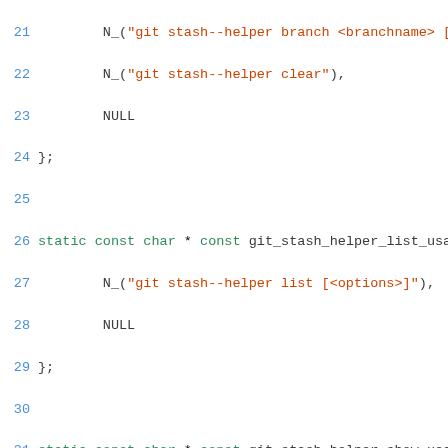[Figure (screenshot): Source code listing in C showing static const char arrays for git stash helper usage strings, lines 21-51. Line numbers in blue on left, keywords in green, string literals in orange/red.]